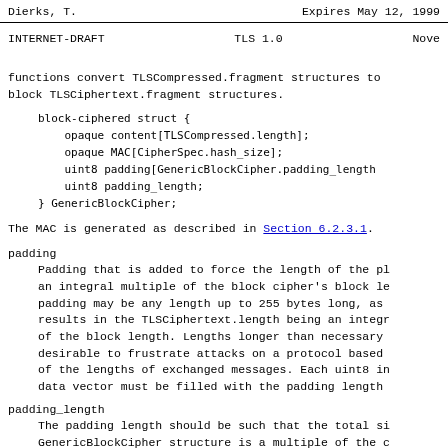Dierks, T.                    Expires May 12, 1999
INTERNET-DRAFT                TLS 1.0                Nove
functions convert TLSCompressed.fragment structures to block TLSCiphertext.fragment structures.
block-ciphered struct {
    opaque content[TLSCompressed.length];
    opaque MAC[CipherSpec.hash_size];
    uint8 padding[GenericBlockCipher.padding_length
    uint8 padding_length;
} GenericBlockCipher;
The MAC is generated as described in Section 6.2.3.1.
padding
Padding that is added to force the length of the pl an integral multiple of the block cipher's block le padding may be any length up to 255 bytes long, as results in the TLSCiphertext.length being an integr of the block length. Lengths longer than necessary desirable to frustrate attacks on a protocol based of the lengths of exchanged messages. Each uint8 in data vector must be filled with the padding length
padding_length
The padding length should be such that the total si GenericBlockCipher structure is a multiple of the c